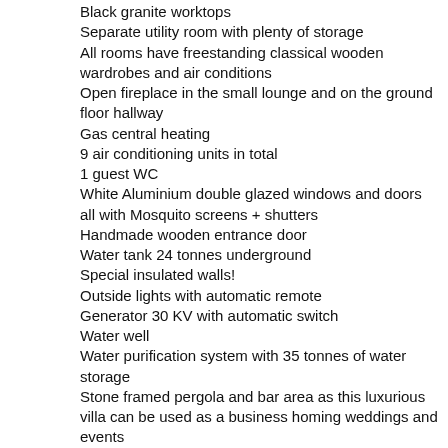Black granite worktops
Separate utility room with plenty of storage
All rooms have freestanding classical wooden wardrobes and air conditions
Open fireplace in the small lounge and on the ground floor hallway
Gas central heating
9 air conditioning units in total
1 guest WC
White Aluminium double glazed windows and doors all with Mosquito screens + shutters
Handmade wooden entrance door
Water tank 24 tonnes underground
Special insulated walls!
Outside lights with automatic remote
Generator 30 KV with automatic switch
Water well
Water purification system with 35 tonnes of water storage
Stone framed pergola and bar area as this luxurious villa can be used as a business homing weddings and events
Automatic metal entrance gates